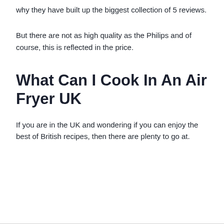why they have built up the biggest collection of 5 reviews.
But there are not as high quality as the Philips and of course, this is reflected in the price.
What Can I Cook In An Air Fryer UK
If you are in the UK and wondering if you can enjoy the best of British recipes, then there are plenty to go at.